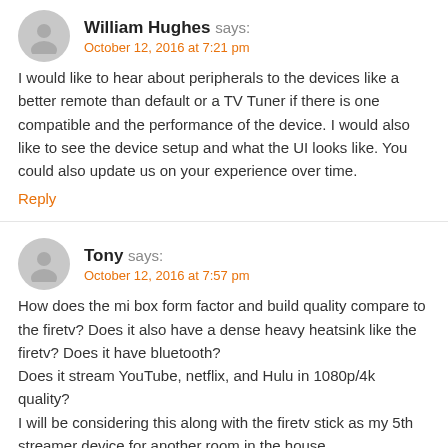William Hughes says: October 12, 2016 at 7:21 pm
I would like to hear about peripherals to the devices like a better remote than default or a TV Tuner if there is one compatible and the performance of the device. I would also like to see the device setup and what the UI looks like. You could also update us on your experience over time.
Reply
Tony says: October 12, 2016 at 7:57 pm
How does the mi box form factor and build quality compare to the firetv? Does it also have a dense heavy heatsink like the firetv? Does it have bluetooth?
Does it stream YouTube, netflix, and Hulu in 1080p/4k quality?
I will be considering this along with the firetv stick as my 5th streamer device for another room in the house.
Reply